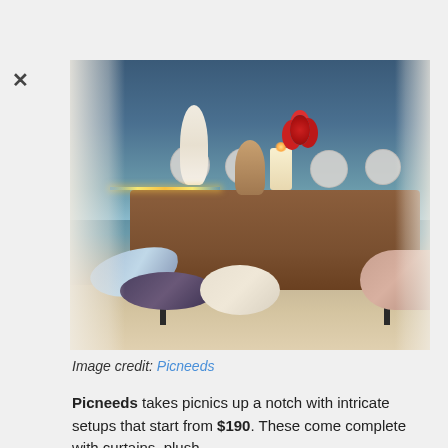[Figure (photo): A beautifully decorated beach picnic setup at dusk with a low wooden table set with plates, wine glasses, candles, red flowers, and decorative items. Plush pillows are arranged on a white blanket on the sand. The ocean and twilight sky are visible in the background. White curtain drapes frame the scene.]
Image credit: Picneeds
Picneeds takes picnics up a notch with intricate setups that start from $190. These come complete with curtains, plush